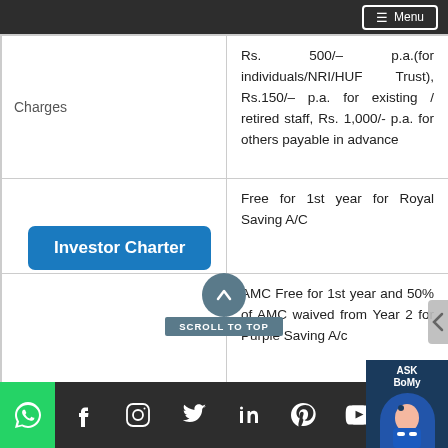[Figure (logo): Bank of Maharashtra logo with Hindi and English text on blue background]
| Charges | Details |
| --- | --- |
| Charges | Rs. 500/– p.a.(for individuals/NRI/HUF Trust), Rs.150/– p.a. for existing / retired staff, Rs. 1,000/- p.a. for others payable in advance |
|  | Free for 1st year for Royal Saving A/C |
|  | AMC Free for 1st year and 50% of AMC waived from Year 2 for Purple Saving A/c |
Investor Charter
SCROLL TO TOP